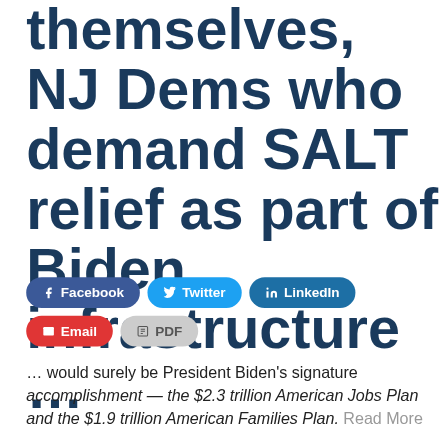themselves, NJ Dems who demand SALT relief as part of Biden infrastructure …
Facebook Twitter LinkedIn Email PDF
… would surely be President Biden's signature accomplishment — the $2.3 trillion American Jobs Plan and the $1.9 trillion American Families Plan. Read More